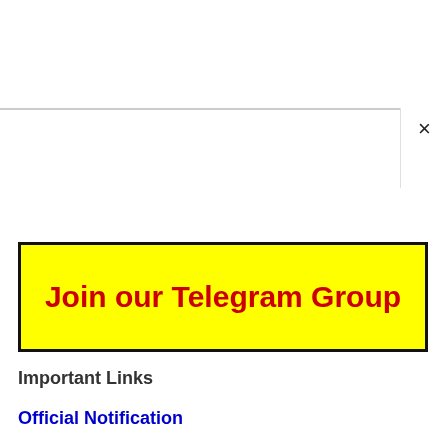[Figure (screenshot): Gray horizontal divider line across page with a close (X) button in the upper right corner]
[Figure (other): Yellow button with black border and red bold text reading 'Join our Telegram Group']
Important Links
Official Notification